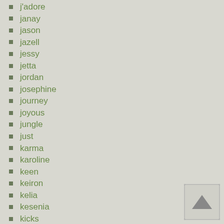j'adore
janay
jason
jazell
jessy
jetta
jordan
josephine
journey
joyous
jungle
just
karma
karoline
keen
keiron
kelia
kesenia
kicks